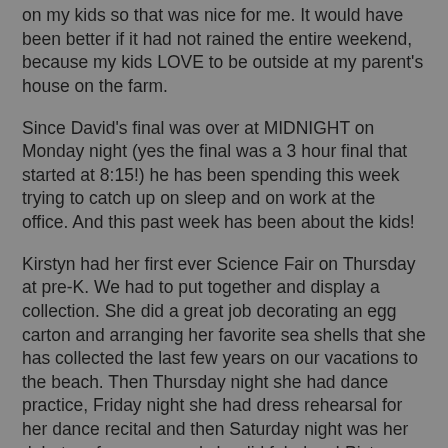on my kids so that was nice for me. It would have been better if it had not rained the entire weekend, because my kids LOVE to be outside at my parent's house on the farm.
Since David's final was over at MIDNIGHT on Monday night (yes the final was a 3 hour final that started at 8:15!) he has been spending this week trying to catch up on sleep and on work at the office. And this past week has been about the kids!
Kirstyn had her first ever Science Fair on Thursday at pre-K. We had to put together and display a collection. She did a great job decorating an egg carton and arranging her favorite sea shells that she has collected the last few years on our vacations to the beach. Then Thursday night she had dance practice, Friday night she had dress rehearsal for her dance recital and then Saturday night was her debut performance and she did fabulous! Pictures to come!!!
Saturday morning was also James' 2nd Birthday party with our playgroup (real Birthday is May 24th). We did a combined party with my friend Elaine's little boy Gavin that ...